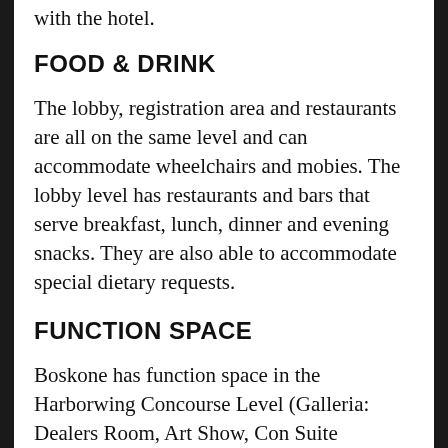with the hotel.
FOOD & DRINK
The lobby, registration area and restaurants are all on the same level and can accommodate wheelchairs and mobies. The lobby level has restaurants and bars that serve breakfast, lunch, dinner and evening snacks. They are also able to accommodate special dietary requests.
FUNCTION SPACE
Boskone has function space in the Harborwing Concourse Level (Galleria:  Dealers Room, Art Show, Con Suite